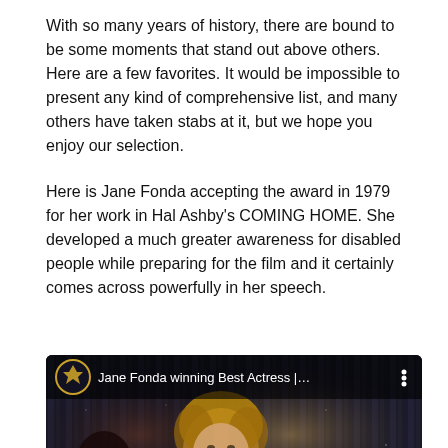With so many years of history, there are bound to be some moments that stand out above others. Here are a few favorites. It would be impossible to present any kind of comprehensive list, and many others have taken stabs at it, but we hope you enjoy our selection.
Here is Jane Fonda accepting the award in 1979 for her work in Hal Ashby's COMING HOME. She developed a much greater awareness for disabled people while preparing for the film and it certainly comes across powerfully in her speech.
[Figure (screenshot): Embedded YouTube video thumbnail showing Jane Fonda winning Best Actress, with the Oscars channel icon and a red play button overlay. Two people are visible in the background against a dark sparkly curtain.]